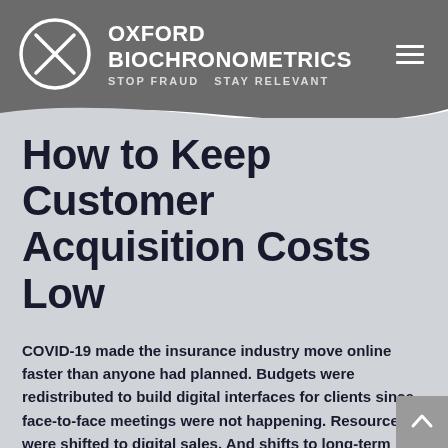OXFORD BIOCHRONOMETRICS — STOP FRAUD  STAY RELEVANT
How to Keep Customer Acquisition Costs Low
COVID-19 made the insurance industry move online faster than anyone had planned. Budgets were redistributed to build digital interfaces for clients since face-to-face meetings were not happening. Resources were shifted to digital sales. And shifts to long-term planning and thinking through the sales process were made to accommodate our "new normal."